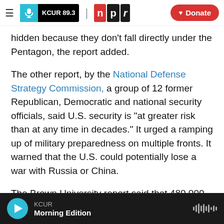KCUR 89.3 | npr | Donate
hidden because they don't fall directly under the Pentagon, the report added.
The other report, by the National Defense Strategy Commission, a group of 12 former Republican, Democratic and national security officials, said U.S. security is "at greater risk than at any time in decades." It urged a ramping up of military preparedness on multiple fronts. It warned that the U.S. could potentially lose a war with Russia or China.
The Brown University report said that 480,000
KCUR — Morning Edition